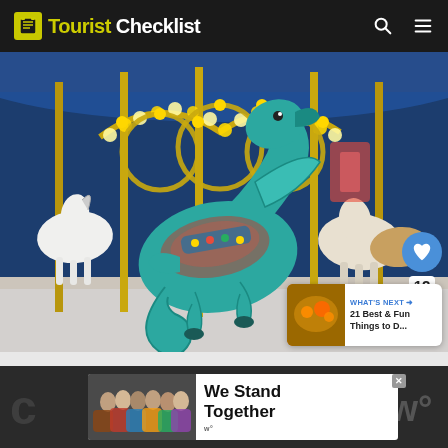Tourist Checklist
[Figure (photo): A colorful carousel featuring a large teal dragon/seahorse figure in the foreground with white horses and gold ornamental decorations lit by warm bulb lights under a blue tent canopy.]
12
WHAT'S NEXT → 21 Best & Fun Things to D...
We Stand Together